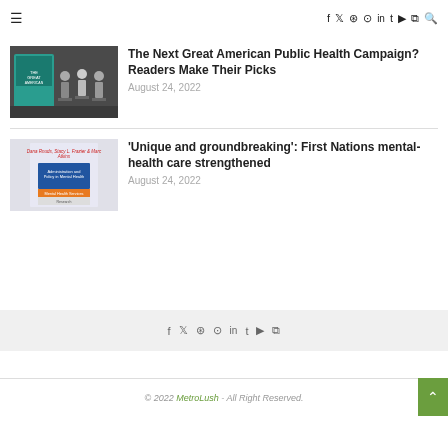≡  f  𝕏  ○  ℗  in  t  ▶  ◉  🔍
The Next Great American Public Health Campaign? Readers Make Their Picks
August 24, 2022
'Unique and groundbreaking': First Nations mental-health care strengthened
August 24, 2022
f  𝕏  ○  ℗  in  t  ▶  ◉   © 2022 MetroLush - All Right Reserved.